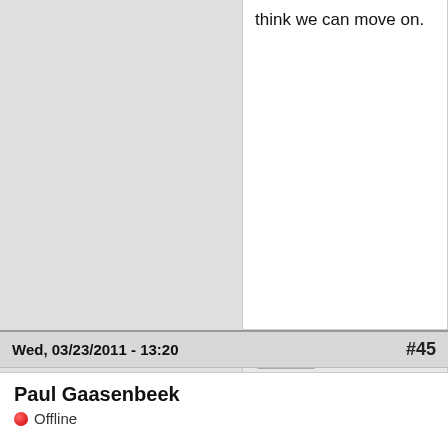think we can move on.
Top
Log in or register to post comments
Wed, 03/23/2011 - 13:20  #45
Paul Gaasenbeek
Offline
Joined: 08/25/2009 - 15:04
Re: New low in F2 offers
oh thern, how long have you been